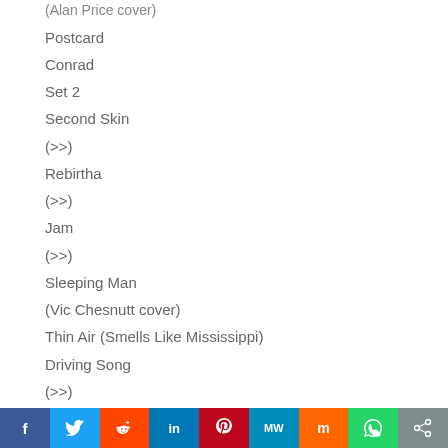(Alan Price cover)
Postcard
Conrad
Set 2
Second Skin
(>>)
Rebirtha
(>>)
Jam
(>>)
Sleeping Man
(Vic Chesnutt cover)
Thin Air (Smells Like Mississippi)
Driving Song
(>>)
Ribs and Whiskey
(>>)
Drums